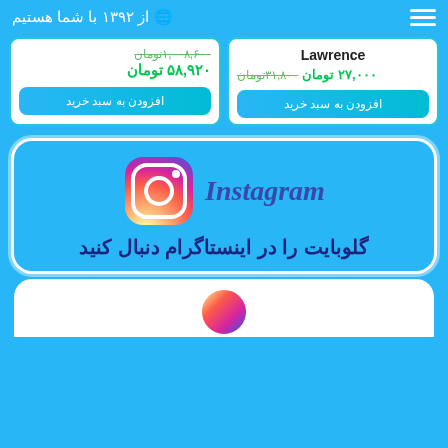از ۱۳۹۲ با شما هستیم 🌐
1,008,600تومان (strikethrough) | 58,920 تومان
Lawrence | 31,800تومان | 27,000 تومان
افزودن به سبد خرید
افزودن به سبد خرید
[Figure (logo): Instagram logo with camera icon and 'Instagram' text, followed by Persian text 'گلوبایت را در اینستاگرام دنبال کنید']